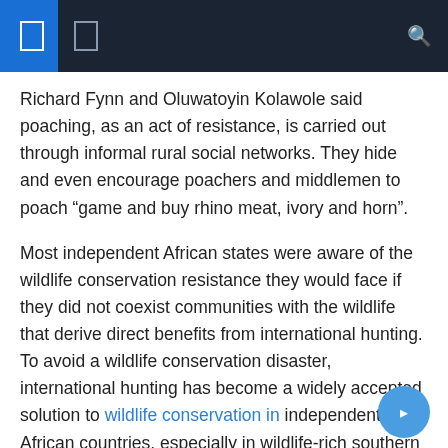Navigation header with icons
Richard Fynn and Oluwatoyin Kolawole said poaching, as an act of resistance, is carried out through informal rural social networks. They hide and even encourage poachers and middlemen to poach "game and buy rhino meat, ivory and horn".
Most independent African states were aware of the wildlife conservation resistance they would face if they did not coexist communities with the wildlife that derive direct benefits from international hunting. To avoid a wildlife conservation disaster, international hunting has become a widely accepted solution to wildlife conservation in independent African countries, especially in wildlife-rich southern African countries.
Therefore, in 1995, SADC's natural resource management